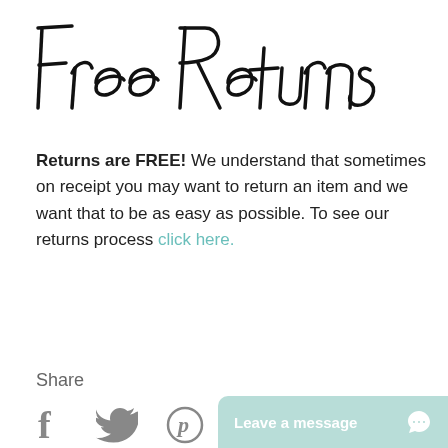Free Returns
Returns are FREE! We understand that sometimes on receipt you may want to return an item and we want that to be as easy as possible. To see our returns process click here.
Share
[Figure (infographic): Social share icons: Facebook (f), Twitter (bird), Pinterest (P)]
[Figure (infographic): Live chat button reading 'Leave a message' with chat icon, mint/teal green background, bottom right corner]